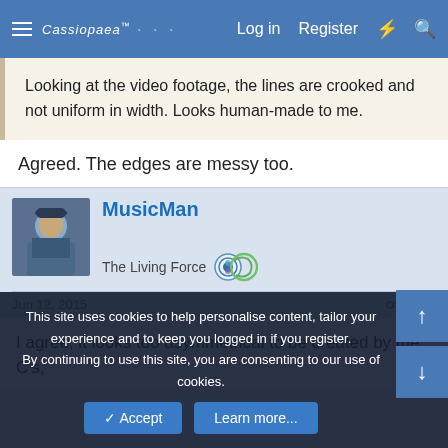Cassiopaea Forum — Log in  Register
Looking at the video footage, the lines are crooked and not uniform in width. Looks human-made to me.
Agreed. The edges are messy too.
MusicMan
The Living Force
Jun 12, 2015   #12
I agree, it looks too asymmetrical to be created by the C's,
This site uses cookies to help personalise content, tailor your experience and to keep you logged in if you register.
By continuing to use this site, you are consenting to our use of cookies.
✓ Accept   Learn more...